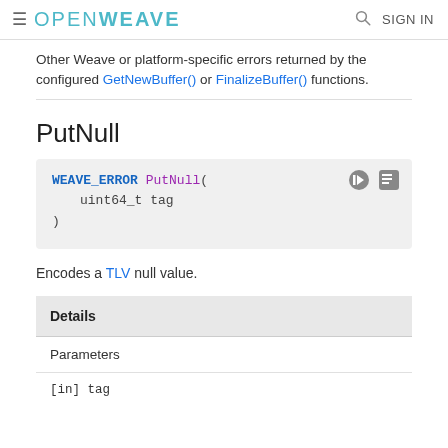OPENWEAVE  SIGN IN
Other Weave or platform-specific errors returned by the configured GetNewBuffer() or FinalizeBuffer() functions.
PutNull
[Figure (screenshot): Code block showing: WEAVE_ERROR PutNull(
  uint64_t tag
)]
Encodes a TLV null value.
| Details |
| --- |
| Parameters |
| [in] tag |